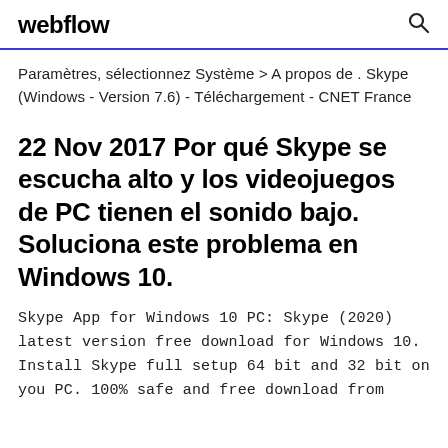webflow
Paramètres, sélectionnez Système > A propos de . Skype (Windows - Version 7.6) - Téléchargement - CNET France
22 Nov 2017 Por qué Skype se escucha alto y los videojuegos de PC tienen el sonido bajo. Soluciona este problema en Windows 10.
Skype App for Windows 10 PC: Skype (2020) latest version free download for Windows 10. Install Skype full setup 64 bit and 32 bit on you PC. 100% safe and free download from